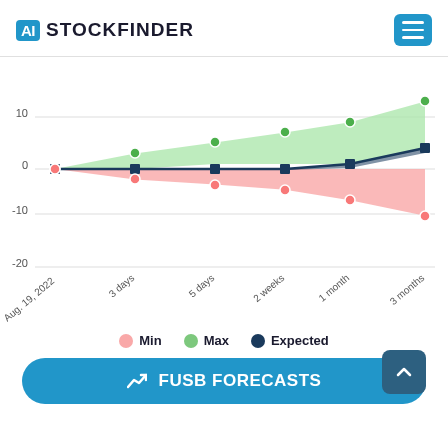AI STOCKFINDER
[Figure (area-chart): FUSB Stock Forecast]
Min  Max  Expected
FUSB FORECASTS